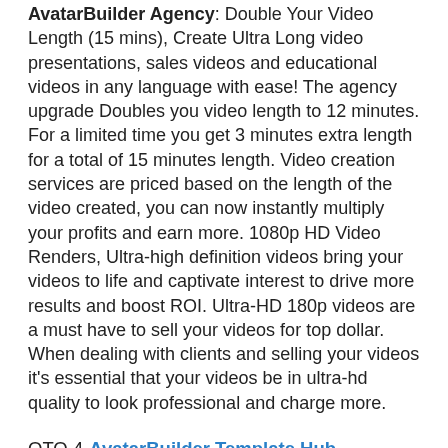AvatarBuilder Agency: Double Your Video Length (15 mins), Create Ultra Long video presentations, sales videos and educational videos in any language with ease! The agency upgrade Doubles you video length to 12 minutes. For a limited time you get 3 minutes extra length for a total of 15 minutes length. Video creation services are priced based on the length of the video created, you can now instantly multiply your profits and earn more. 1080p HD Video Renders, Ultra-high definition videos bring your videos to life and captivate interest to drive more results and boost ROI. Ultra-HD 180p videos are a must have to sell your videos for top dollar. When dealing with clients and selling your videos it's essential that your videos be in ultra-hd quality to look professional and charge more.
OTO 4- AvatarBuilder Template Hub
AvatarBuilder Template Hub 500 Ready Made